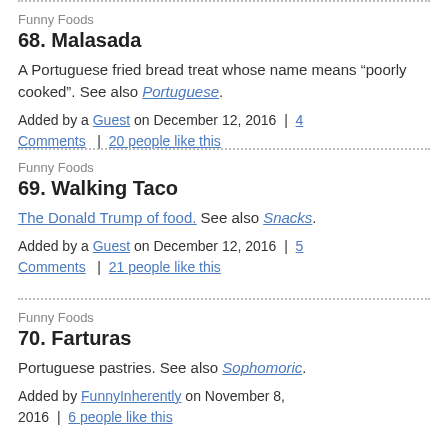Funny Foods
68. Malasada
A Portuguese fried bread treat whose name means "poorly cooked". See also Portuguese.
Added by a Guest on December 12, 2016 | 4 Comments | 20 people like this
Funny Foods
69. Walking Taco
The Donald Trump of food. See also Snacks.
Added by a Guest on December 12, 2016 | 5 Comments | 21 people like this
Funny Foods
70. Farturas
Portuguese pastries. See also Sophomoric.
Added by FunnyInherently on November 8, 2016 | 6 people like this